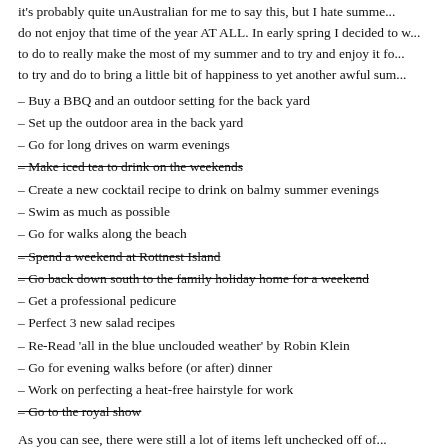it's probably quite unAustralian for me to say this, but I hate summe... do not enjoy that time of the year AT ALL. In early spring I decided to w... to do to really make the most of my summer and to try and enjoy it fo... to try and do to bring a little bit of happiness to yet another awful sum...
– Buy a BBQ and an outdoor setting for the back yard
– Set up the outdoor area in the back yard
– Go for long drives on warm evenings
– Make iced tea to drink on the weekends (strikethrough)
– Create a new cocktail recipe to drink on balmy summer evenings
– Swim as much as possible
– Go for walks along the beach
– Spend a weekend at Rottnest Island (strikethrough)
– Go back down south to the family holiday home for a weekend (strikethrough)
– Get a professional pedicure
– Perfect 3 new salad recipes
– Re-Read 'all in the blue unclouded weather' by Robin Klein
– Go for evening walks before (or after) dinner
– Work on perfecting a heat-free hairstyle for work
– Go to the royal show (strikethrough)
As you can see, there were still a lot of items left unchecked off of...